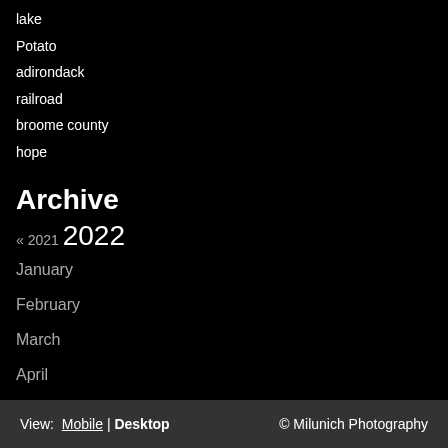lake
Potato
adirondack
railroad
broome county
hope
Archive
« 2021 2022
January
February
March
April
May
June
July
August
View: Mobile | Desktop  © Milunich Photography